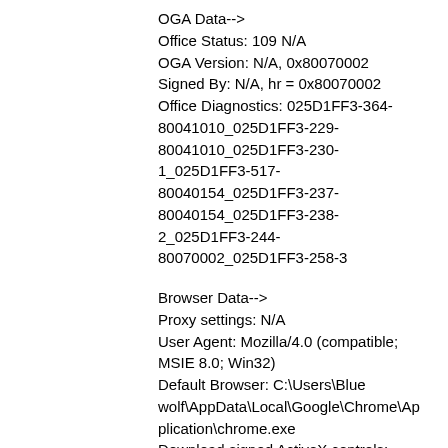OGA Data-->
Office Status: 109 N/A
OGA Version: N/A, 0x80070002
Signed By: N/A, hr = 0x80070002
Office Diagnostics: 025D1FF3-364-80041010_025D1FF3-229-80041010_025D1FF3-230-1_025D1FF3-517-80040154_025D1FF3-237-80040154_025D1FF3-238-2_025D1FF3-244-80070002_025D1FF3-258-3
Browser Data-->
Proxy settings: N/A
User Agent: Mozilla/4.0 (compatible; MSIE 8.0; Win32)
Default Browser: C:\Users\Blue wolf\AppData\Local\Google\Chrome\Application\chrome.exe
Download signed ActiveX controls: Prompt
Download unsigned ActiveX controls: Disabled
Run ActiveX controls and plug-ins: Allowed
Initialize and script ActiveX controls not marked as safe: Disabled